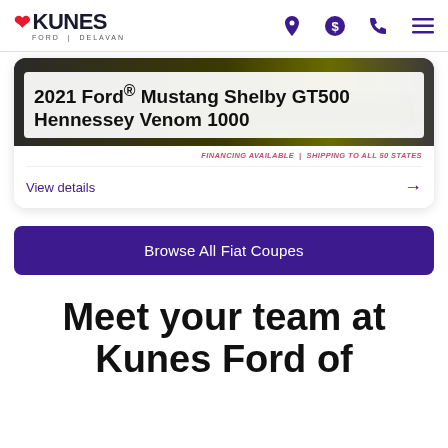[Figure (logo): Kunes Ford Delavan logo with red heart icon and navigation icons (location pin, dollar sign, phone, menu)]
2021 Ford® Mustang Shelby GT500 Hennessey Venom 1000
FINANCING AVAILABLE | SHIPPING TO ALL 50 STATES
View details →
Browse All Fiat Coupes
Meet your team at Kunes Ford of